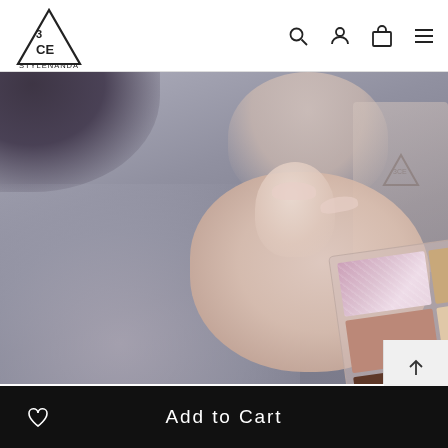[Figure (logo): 3CE STYLENANDA logo — triangle outline with '3CE' text inside, 'STYLENANDA' below]
[Figure (photo): Person holding a 3CE 6-pan eyeshadow palette in neutral/mauve tones including pink glitter, tan, mauve, cream, dark brown, dusty rose, gold glitter shades. Background is grey fuzzy fabric.]
함께 사용한 제품
Add to Cart